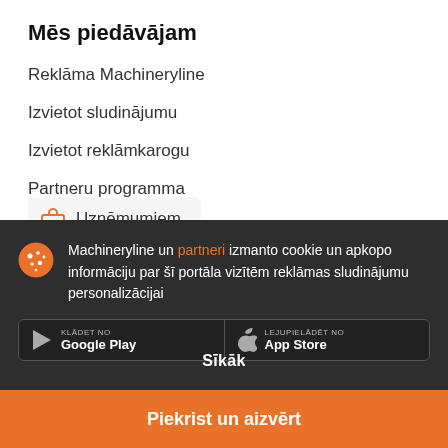Mēs piedāvājam
Reklāma Machineryline
Izvietot sludinājumu
Izvietot reklāmkarogu
Partneru programma
Uzņēmumiem
Machineryline un partneri izmanto cookie un apkopo informāciju par šī portāla vizītēm reklāmas sludinājumu personalizācijai
Sīkāk
Piekrist un aizvērt